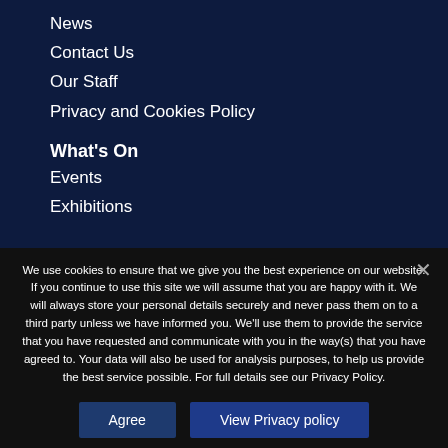News
Contact Us
Our Staff
Privacy and Cookies Policy
What's On
Events
Exhibitions
We use cookies to ensure that we give you the best experience on our website. If you continue to use this site we will assume that you are happy with it. We will always store your personal details securely and never pass them on to a third party unless we have informed you. We'll use them to provide the service that you have requested and communicate with you in the way(s) that you have agreed to. Your data will also be used for analysis purposes, to help us provide the best service possible. For full details see our Privacy Policy.
Agree
View Privacy policy